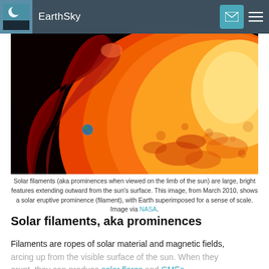EarthSky
[Figure (photo): Close-up image of the sun showing a large solar eruptive prominence (filament) arcing outward from the solar surface against a dark background, with vivid orange and red tones.]
Solar filaments (aka prominences when viewed on the limb of the sun) are large, bright features extending outward from the sun's surface. This image, from March 2010, shows a solar eruptive prominence (filament), with Earth superimposed for a sense of scale. Image via NASA.
Solar filaments, aka prominences
Filaments are ropes of solar material and magnetic fields, arcing up from the visible surface of the sun. When they erupt, they can produce solar flares and CMEs.